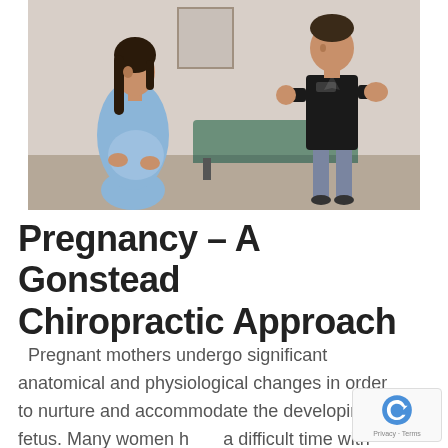[Figure (photo): A pregnant woman in a blue hospital gown standing facing a male chiropractor in a black polo shirt in a clinical room with an examination table in the background. The chiropractor appears to be explaining something with hand gestures.]
Pregnancy – A Gonstead Chiropractic Approach
Pregnant mothers undergo significant anatomical and physiological changes in order to nurture and accommodate the developing fetus. Many women h ave a difficult time with pregnancy, and it doesn't need to be that way. When you have extra stress, extra weight,